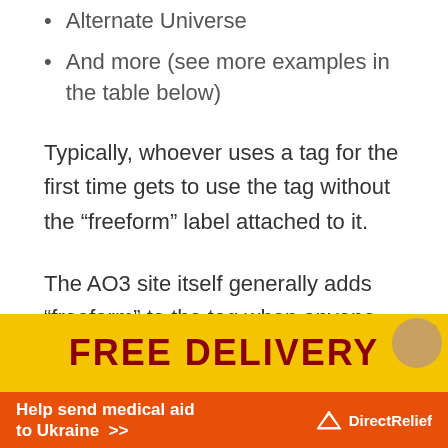Alternate Universe
And more (see more examples in the table below)
Typically, whoever uses a tag for the first time gets to use the tag without the “freeform” label attached to it.
The AO3 site itself generally adds “freeform” to the tag when anyone else uses it.
[Figure (infographic): Advertisement banner. Top portion: yellow background with bold dark red text 'FREE DELIVERY' and a play/close button. Bottom portion: orange background with white text 'Help send medical aid to Ukraine >>' and Direct Relief logo.]